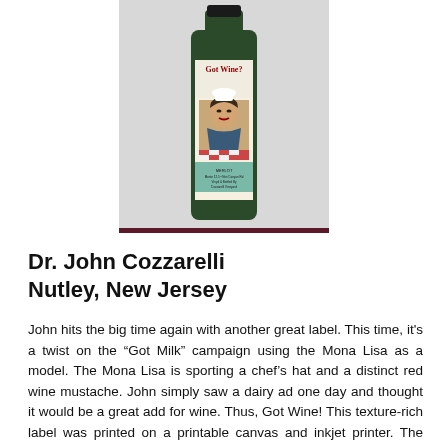[Figure (photo): A wine bottle with a 'Got Wine?' label featuring the Mona Lisa wearing a chef's hat and a red wine mustache, displayed against a light gray background.]
Dr. John Cozzarelli
Nutley, New Jersey
John hits the big time again with another great label. This time, it's a twist on the “Got Milk” campaign using the Mona Lisa as a model. The Mona Lisa is sporting a chef’s hat and a distinct red wine mustache. John simply saw a dairy ad one day and thought it would be a great add for wine. Thus, Got Wine! This texture-rich label was printed on a printable canvas and inkjet printer. The photo came from photo shop and he airbrushed it.